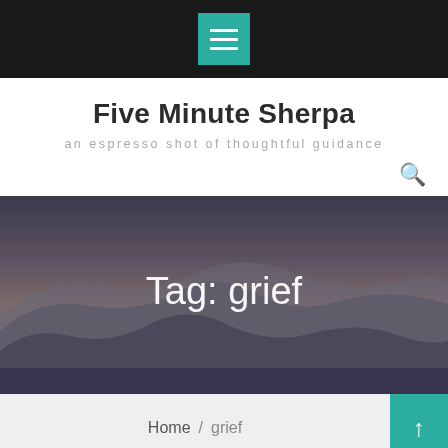[Figure (screenshot): Top navigation bar with black background and teal/green hamburger menu icon]
Five Minute Sherpa
an espresso shot of thoughtful guidance
[Figure (photo): Mountain landscape hero image with misty layered mountains in muted blue-grey tones, with text overlay 'Tag: grief']
Tag: grief
Home / grief
Day 4: Loss